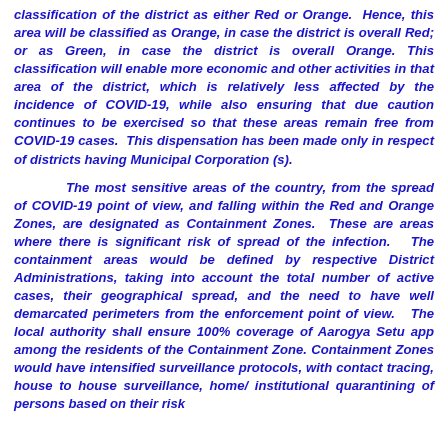classification of the district as either Red or Orange. Hence, this area will be classified as Orange, in case the district is overall Red; or as Green, in case the district is overall Orange. This classification will enable more economic and other activities in that area of the district, which is relatively less affected by the incidence of COVID-19, while also ensuring that due caution continues to be exercised so that these areas remain free from COVID-19 cases. This dispensation has been made only in respect of districts having Municipal Corporation (s).
The most sensitive areas of the country, from the spread of COVID-19 point of view, and falling within the Red and Orange Zones, are designated as Containment Zones. These are areas where there is significant risk of spread of the infection. The containment areas would be defined by respective District Administrations, taking into account the total number of active cases, their geographical spread, and the need to have well demarcated perimeters from the enforcement point of view. The local authority shall ensure 100% coverage of Aarogya Setu app among the residents of the Containment Zone. Containment Zones would have intensified surveillance protocols, with contact tracing, house to house surveillance, home/ institutional quarantining of persons based on their risk